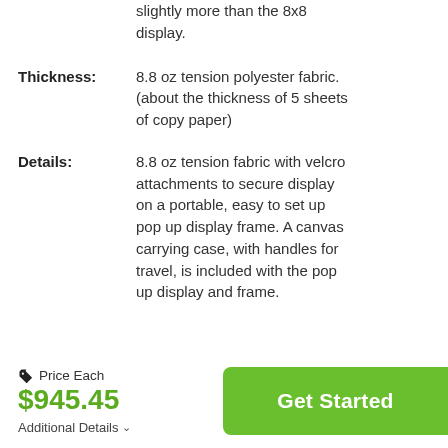slightly more than the 8x8 display.
Thickness: 8.8 oz tension polyester fabric. (about the thickness of 5 sheets of copy paper)
Details: 8.8 oz tension fabric with velcro attachments to secure display on a portable, easy to set up pop up display frame. A canvas carrying case, with handles for travel, is included with the pop up display and frame.
Price Each $945.45
Additional Details
Get Started